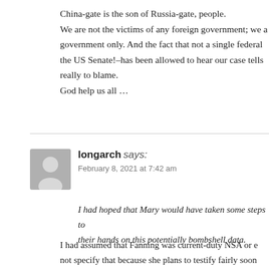China-gate is the son of Russia-gate, people.
We are not the victims of any foreign government; we a[re victims of our own] government only. And the fact that not a single federal [court–not even] the US Senate!–has been allowed to hear our case tells [us who is] really to blame.
God help us all …
[Figure (illustration): User avatar placeholder image showing silhouette of a person, gray background, square shape]
longarch says:
February 8, 2021 at 7:42 am
I had hoped that Mary would have taken some steps to [get researchers] their hands on this potentially bombshell data.
I had assumed that Fanning was current-duty NSA or e[lse she would] not specify that because she plans to testify fairly soon [about the] data.
If Fanning was not NSA, I would imagine she might be[...]